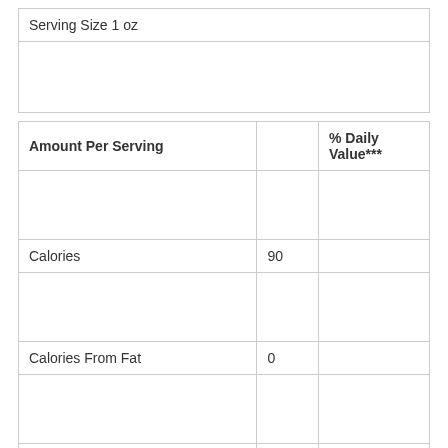| Serving Size 1 oz |
|  |
| Amount Per Serving |  | % Daily Value*** |
| --- | --- | --- |
|  |  |  |
| Calories | 90 |  |
|  |  |  |
| Calories From Fat | 0 |  |
|  |  |  |
|  |  |  |